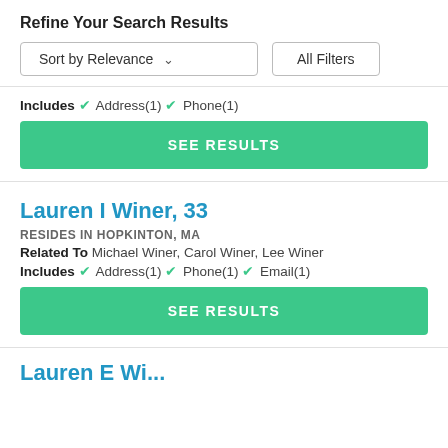Refine Your Search Results
Sort by Relevance   All Filters
Includes ✓ Address(1) ✓ Phone(1)
SEE RESULTS
Lauren I Winer, 33
RESIDES IN HOPKINTON, MA
Related To Michael Winer, Carol Winer, Lee Winer
Includes ✓ Address(1) ✓ Phone(1) ✓ Email(1)
SEE RESULTS
Lauren E Wi...